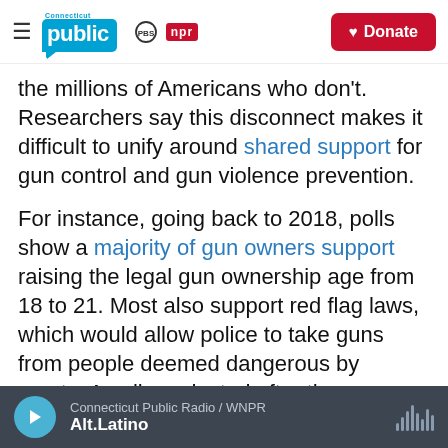Connecticut Public | PBS | NPR | Donate
the millions of Americans who don't. Researchers say this disconnect makes it difficult to unify around shared support for gun control and gun violence prevention.
For instance, going back to 2018, polls show a majority of gun owners support raising the legal gun ownership age from 18 to 21. Most also support red flag laws, which would allow police to take guns from people deemed dangerous by courts. A poll conducted after the mass shooting in Uvalde, Texas, shows an overwhelming
Connecticut Public Radio / WNPR | Alt.Latino